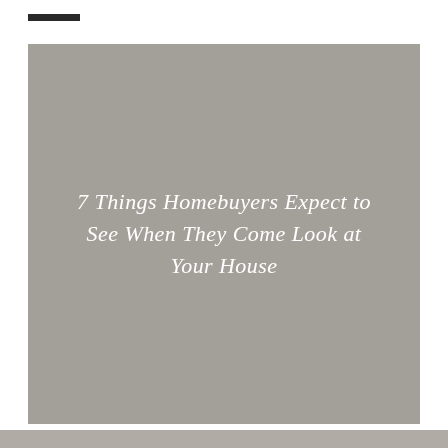[Figure (illustration): Large gray-beige square image block with italic script white text overlay reading '7 Things Homebuyers Expect to See When They Come Look at Your House']
7 Things Homebuyers Expect to See When They Come Look at Your House